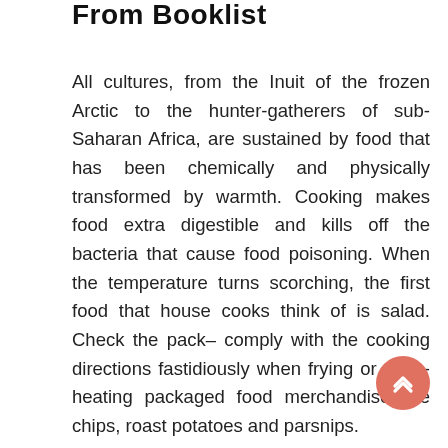From Booklist
All cultures, from the Inuit of the frozen Arctic to the hunter-gatherers of sub-Saharan Africa, are sustained by food that has been chemically and physically transformed by warmth. Cooking makes food extra digestible and kills off the bacteria that cause food poisoning. When the temperature turns scorching, the first food that house cooks think of is salad. Check the pack– comply with the cooking directions fastidiously when frying or oven-heating packaged food merchandise like chips, roast potatoes and parsnips.
Pasteurized milk incorporates only a few dwelling cells or energetic enzyme molecules, so it is extra predictably freed from micro organism that will trigger food poisoning, and more secure; it develops